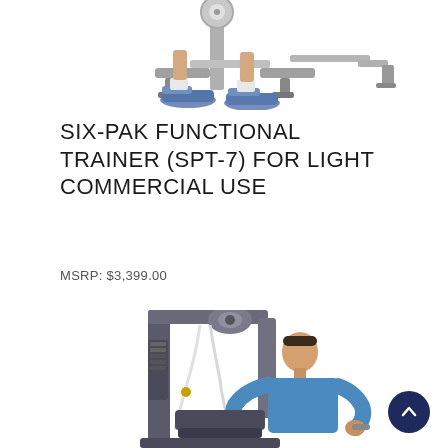[Figure (photo): Partial view of a person's legs/feet near a commercial exercise machine, showing sneakers and the base of the equipment on a white background.]
SIX-PAK FUNCTIONAL TRAINER (SPT-7) FOR LIGHT COMMERCIAL USE
MSRP: $3,399.00
[Figure (photo): A man in a blue shirt using a Six-Pak SPT-7 functional trainer cable machine, performing a bicep curl or fly exercise. The machine is large, gray/silver with yellow accents, featuring cables, pulleys, and weight stacks.]